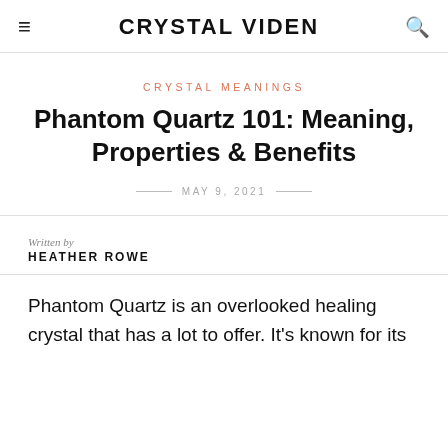CRYSTAL VIDEN
CRYSTAL MEANINGS
Phantom Quartz 101: Meaning, Properties & Benefits
MAY 9, 2021
Written by
HEATHER ROWE
Phantom Quartz is an overlooked healing crystal that has a lot to offer. It’s known for its